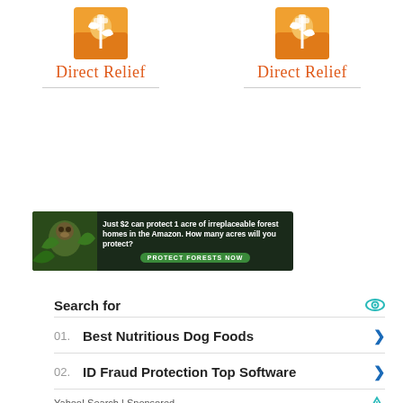[Figure (logo): Direct Relief logo (left) - orange square with white plant/medical symbol, text 'Direct Relief' in orange serif font, horizontal divider line below]
[Figure (logo): Direct Relief logo (right) - orange square with white plant/medical symbol, text 'Direct Relief' in orange serif font, horizontal divider line below]
[Figure (photo): Amazon rainforest conservation ad banner with monkey image on left, dark green forest background, white bold text reading 'Just $2 can protect 1 acre of irreplaceable forest homes in the Amazon. How many acres will you protect?' and green button 'PROTECT FORESTS NOW']
Search for
01. Best Nutritious Dog Foods
02. ID Fraud Protection Top Software
Yahoo! Search | Sponsored